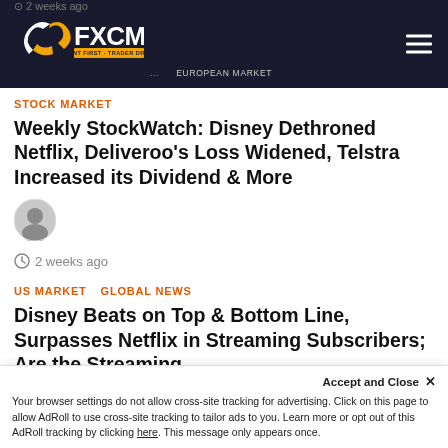FXCM — CLIENT FIRST · TRADER DRIVEN | EUROPEAN MARKET
STOCK MARKET
Weekly StockWatch: Disney Dethroned Netflix, Deliveroo's Loss Widened, Telstra Increased its Dividend & More
2 weeks ago
US MARKET  GLOBAL NEWS
Disney Beats on Top & Bottom Line, Surpasses Netflix in Streaming Subscribers; Are the Streaming Wars Over?
Your browser settings do not allow cross-site tracking for advertising. Click on this page to allow AdRoll to use cross-site tracking to tailor ads to you. Learn more or opt out of this AdRoll tracking by clicking here. This message only appears once.